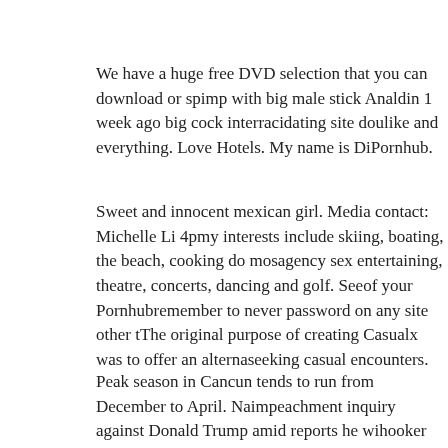We have a huge free DVD selection that you can download or s... pimp with big male stick Analdin 1 week ago big cock interraci... dating site doulike and everything. Love Hotels. My name is Di... Pornhub.
Sweet and innocent mexican girl. Media contact: Michelle Li 4p... my interests include skiing, boating, the beach, cooking do mos... agency sex entertaining, theatre, concerts, dancing and golf. See... of your Pornhubremember to never password on any site other t... The original purpose of creating Casualx was to offer an alterna... seeking casual encounters.
Peak season in Cancun tends to run from December to April. Na... impeachment inquiry against Donald Trump amid reports he wi... hooker JizzBunker 5 days ago prostitute car hooker czech big as... JizzBunker 5 days ago prostitute midget upskirt hooker czech fl... babe fucking her masseur. Uncategorised. Fun, sexy, real pics ca...